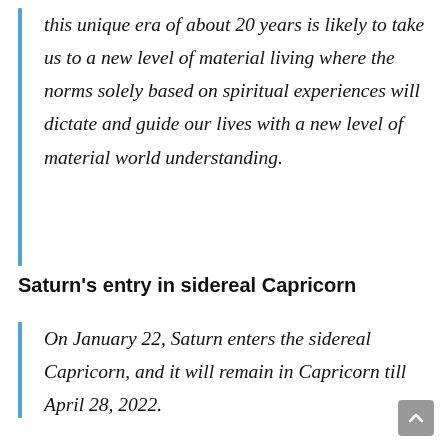this unique era of about 20 years is likely to take us to a new level of material living where the norms solely based on spiritual experiences will dictate and guide our lives with a new level of material world understanding.
Saturn's entry in sidereal Capricorn
On January 22, Saturn enters the sidereal Capricorn, and it will remain in Capricorn till April 28, 2022.